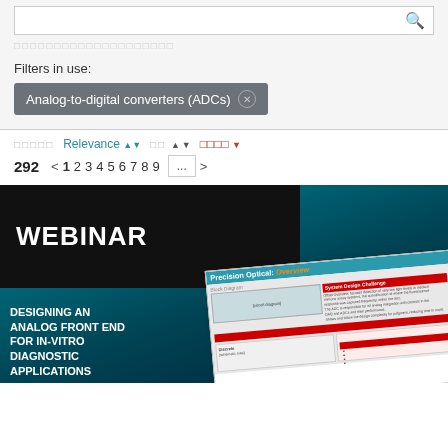Filters in use:
Analog-to-digital converters (ADCs)
Relevance  |  |  ▼
292  <  1  2  3  4  5  6  7  8  9  ...  >
[Figure (screenshot): Webinar thumbnail showing 'DESIGNING AN ANALOG FRONT END FOR IN-VITRO DIAGNOSTIC APPLICATIONS' with slide preview]